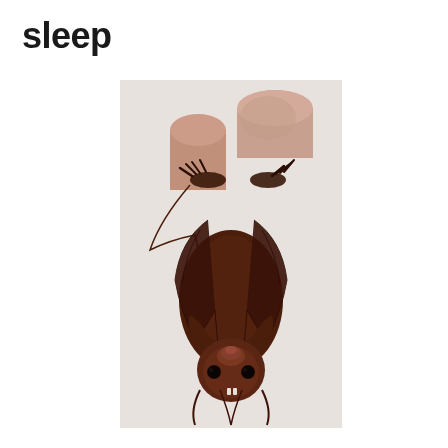sleep
[Figure (photo): A small bat hanging upside down, held by a person's finger and thumb. The bat has dark brown fur, small black eyes, and visible wing membranes. The background is a plain light gray/white surface.]